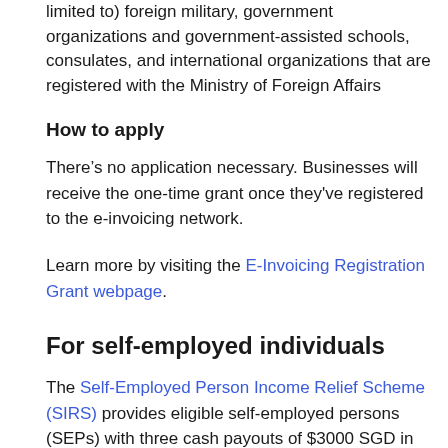limited to) foreign military, government organizations and government-assisted schools, consulates, and international organizations that are registered with the Ministry of Foreign Affairs
How to apply
There's no application necessary. Businesses will receive the one-time grant once they've registered to the e-invoicing network.
Learn more by visiting the E-Invoicing Registration Grant webpage.
For self-employed individuals
The Self-Employed Person Income Relief Scheme (SIRS) provides eligible self-employed persons (SEPs) with three cash payouts of $3000 SGD in May, July, and October 2020.